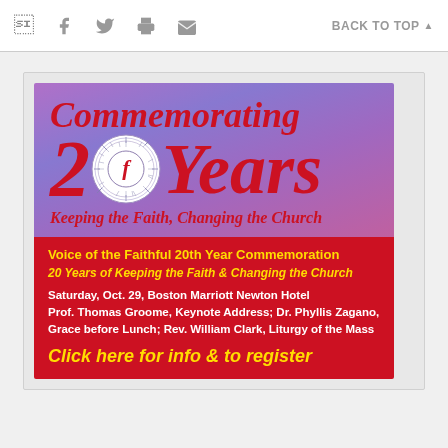f  [twitter icon]  [print icon]  [email icon]   BACK TO TOP ▲
[Figure (illustration): Commemorating 20 Years event flyer with purple gradient top showing italic red text 'Commemorating 20 Years' with a circular faith logo, subtitle 'Keeping the Faith, Changing the Church', and a red bottom section with event details for Voice of the Faithful 20th Year Commemoration on Saturday, Oct. 29 at Boston Marriott Newton Hotel.]
Voice of the Faithful 20th Year Commemoration
20 Years of Keeping the Faith & Changing the Church
Saturday, Oct. 29, Boston Marriott Newton Hotel
Prof. Thomas Groome, Keynote Address; Dr. Phyllis Zagano, Grace before Lunch; Rev. William Clark, Liturgy of the Mass
Click here for info & to register